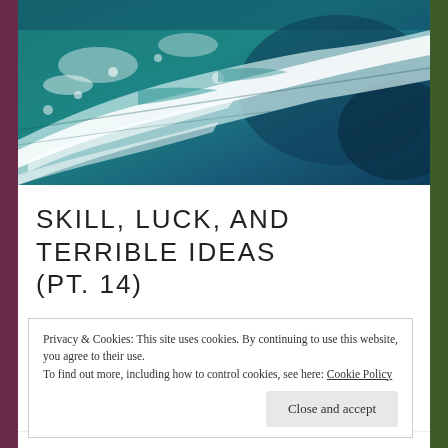[Figure (photo): Aerial or close-up photo of turbulent ocean waves — teal-blue and white sea foam water]
SKILL, LUCK, AND TERRIBLE IDEAS (PT. 14)
Privacy & Cookies: This site uses cookies. By continuing to use this website, you agree to their use. To find out more, including how to control cookies, see here: Cookie Policy